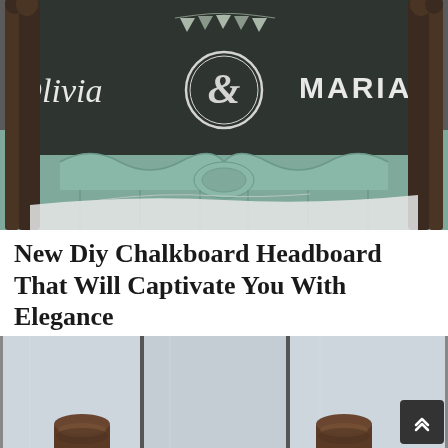[Figure (photo): A decorative bed headboard painted in sage green/mint with a dark chalkboard-painted upper section. Written in chalk-style script on the dark upper panel: 'Olivia & Mariah' with a circular monogram medallion in the center. The headboard has ornate carved details and four dark wooden bedposts. White pillows and bedding are visible at the bottom of the image.]
New Diy Chalkboard Headboard That Will Captivate You With Elegance
[Figure (photo): A light blue/grey paneled headboard with vertical wood slat panels divided by thin dark metal or wood strips. The lower portion shows two dark brown wooden cylindrical or turned bedpost legs visible at the bottom corners. The overall style is modern farmhouse.]